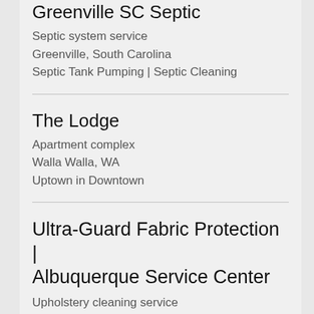Greenville SC Septic
Septic system service
Greenville, South Carolina
Septic Tank Pumping | Septic Cleaning
The Lodge
Apartment complex
Walla Walla, WA
Uptown in Downtown
Ultra-Guard Fabric Protection | Albuquerque Service Center
Upholstery cleaning service
USA, New Mexico